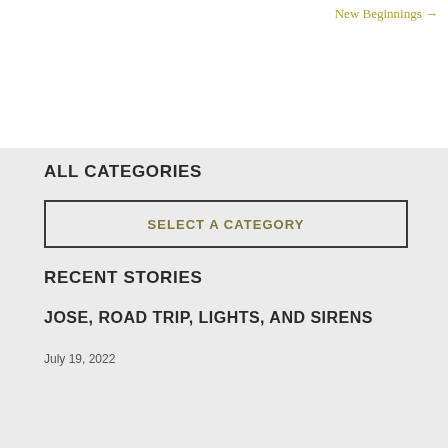New Beginnings →
ALL CATEGORIES
SELECT A CATEGORY
RECENT STORIES
JOSE, ROAD TRIP, LIGHTS, AND SIRENS
July 19, 2022